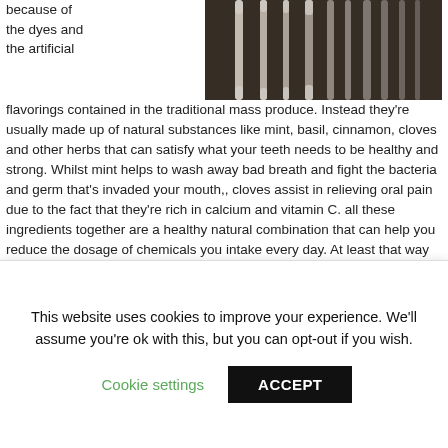because of the dyes and the artificial
[Figure (photo): Close-up photo of cotton swabs or dental tools against a dark background]
flavorings contained in the traditional mass produce. Instead they're usually made up of natural substances like mint, basil, cinnamon, cloves and other herbs that can satisfy what your teeth needs to be healthy and strong. Whilst mint helps to wash away bad breath and fight the bacteria and germ that's invaded your mouth,, cloves assist in relieving oral pain due to the fact that they're rich in calcium and vitamin C. all these ingredients together are a healthy natural combination that can help you reduce the dosage of chemicals you intake every day. At least that way you won't have your dentist looking at you with dismay, the next time you make a traumatizing trip to the dental clinic Richmond.
Helps Prevent Tooth De...
This website uses cookies to improve your experience. We'll assume you're ok with this, but you can opt-out if you wish.